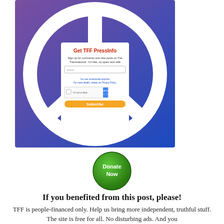[Figure (infographic): TFF PressInfo subscription signup widget displayed over a blue/purple gradient background with a white peace symbol logo. Contains 'Get TFF PressInfo' heading in red, descriptive text, email input field, reCAPTCHA checkbox, and orange Subscribe button.]
[Figure (infographic): Green circular Donate Now button]
If you benefited from this post, please!
TFF is people-financed only. Help us bring more independent, truthful stuff. The site is free for all. No disturbing ads. And you